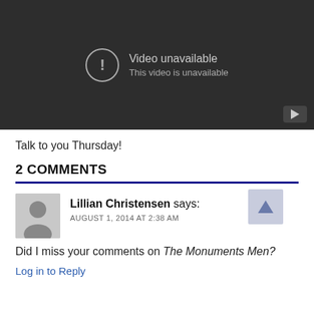[Figure (screenshot): YouTube video unavailable placeholder — dark background with exclamation icon circle, text 'Video unavailable / This video is unavailable', and YouTube play button logo in bottom-right corner]
Talk to you Thursday!
2 COMMENTS
Lillian Christensen says:
AUGUST 1, 2014 AT 2:38 AM
Did I miss your comments on The Monuments Men?
Log in to Reply